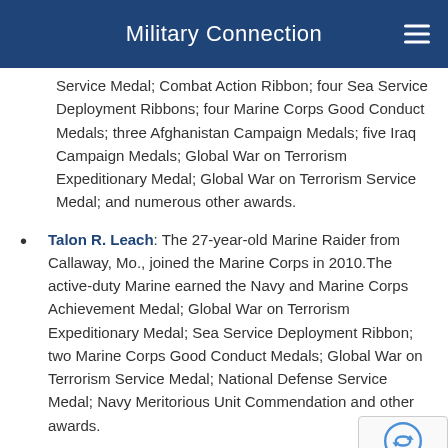Military Connection
Service Medal; Combat Action Ribbon; four Sea Service Deployment Ribbons; four Marine Corps Good Conduct Medals; three Afghanistan Campaign Medals; five Iraq Campaign Medals; Global War on Terrorism Expeditionary Medal; Global War on Terrorism Service Medal; and numerous other awards.
Talon R. Leach: The 27-year-old Marine Raider from Callaway, Mo., joined the Marine Corps in 2010.The active-duty Marine earned the Navy and Marine Corps Achievement Medal; Global War on Terrorism Expeditionary Medal; Sea Service Deployment Ribbon; two Marine Corps Good Conduct Medals; Global War on Terrorism Service Medal; National Defense Service Medal; Navy Meritorious Unit Commendation and other awards.
Owen J. Lennon: The 26-year-old fixed wing